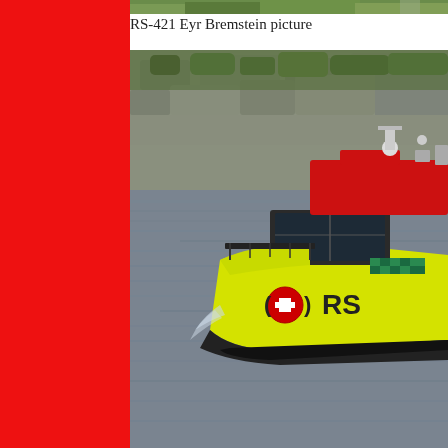[Figure (photo): Top sliver of a photograph showing green foliage and a structure, partially cropped at top of page]
RS-421 Eyr Bremstein picture
[Figure (photo): Photograph of a bright yellow and red rescue boat with HRS markings and a red cross symbol, navigating on water with rocky shoreline in background]